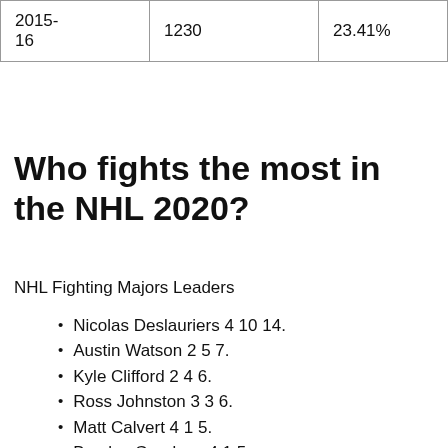| 2015-16 | 1230 | 23.41% |
Who fights the most in the NHL 2020?
NHL Fighting Majors Leaders
Nicolas Deslauriers 4 10 14.
Austin Watson 2 5 7.
Kyle Clifford 2 4 6.
Ross Johnston 3 3 6.
Matt Calvert 4 1 5.
Barclay Goodrow 4 1 5.
Garnet Hathaway 1 4 5.
Brendan Lemieux 3 2 5.